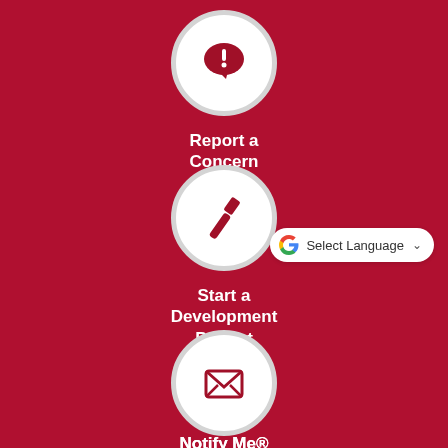[Figure (infographic): White circle with dark red speech bubble containing exclamation mark icon]
Report a Concern
[Figure (infographic): White circle with dark red hammer/tool icon]
Start a Development Project
[Figure (screenshot): Google Translate Select Language widget]
[Figure (infographic): White circle with dark red envelope/mail icon]
Notify Me®
[Figure (infographic): White circle with dark red LIVE broadcast icon (monitor with LIVE text)]